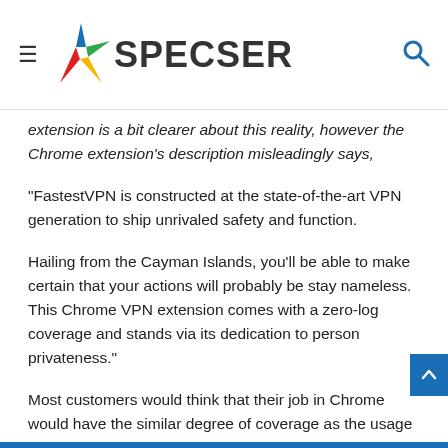SPECSER
extension is a bit clearer about this reality, however the Chrome extension's description misleadingly says,
“FastestVPN is constructed at the state-of-the-art VPN generation to ship unrivaled safety and function.
Hailing from the Cayman Islands, you’ll be able to make certain that your actions will probably be stay nameless. This Chrome VPN extension comes with a zero-log coverage and stands via its dedication to person privateness.”
Most customers would think that their job in Chrome would have the similar degree of coverage as the usage of the VP app, however actually a proxy carrier does no longer encrypt all knowledge in the similar method, and from time to time